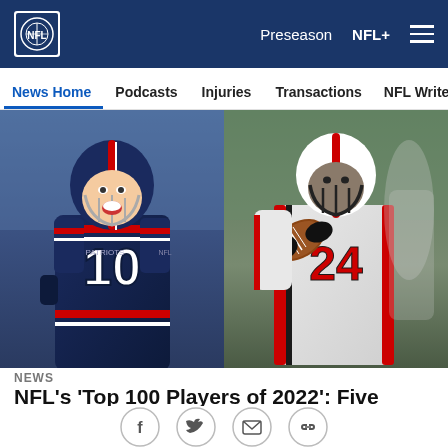NFL — Preseason | NFL+ | Navigation menu
News Home | Podcasts | Injuries | Transactions | NFL Writers | Se
[Figure (photo): Two NFL players side by side: left shows a New England Patriots player wearing #10 jersey laughing/celebrating; right shows an Atlanta Falcons player #24 catching or holding a football.]
NEWS
NFL's 'Top 100 Players of 2022': Five things the voters got wrong
The players have spoken. Now what did they get wrong?
[Figure (other): Social sharing icons: Facebook, Twitter, Email, Link]